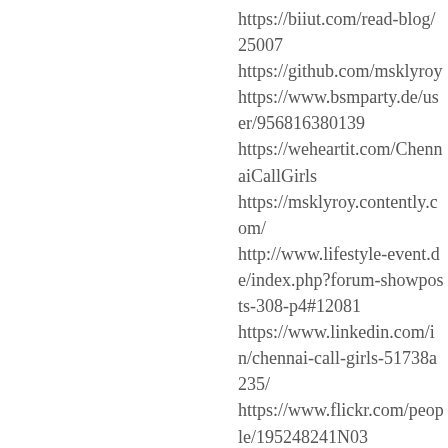https://biiut.com/read-blog/25007
https://github.com/msklyroy
https://www.bsmparty.de/user/956816380139
https://weheartit.com/ChennaiCallGirls
https://msklyroy.contently.com/
http://www.lifestyle-event.de/index.php?forum-showposts-308-p4#12081
https://www.linkedin.com/in/chennai-call-girls-51738a235/
https://www.flickr.com/people/195248241N03
https://community.helpdeskz.com/user-2674.html
https://borgerkraft.no/profiles/msklyroy/timeline?locale=en
https://sallatunturinkoulu.purot.net/profile/msklyroy
https://participa.terrassa.cat/profiles/msklyroy/t
https://consultation.colibris-lemouvement.org/profile/msklyroy
http://phillipsservices.net/UserProfile/tabid/43/